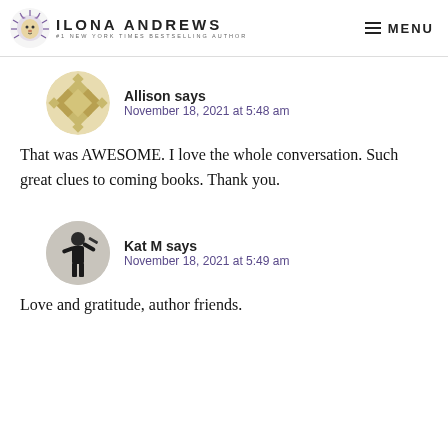Ilona Andrews — #1 New York Times Bestselling Author | MENU
Allison says
November 18, 2021 at 5:48 am
That was AWESOME. I love the whole conversation. Such great clues to coming books. Thank you.
Kat M says
November 18, 2021 at 5:49 am
Love and gratitude, author friends.